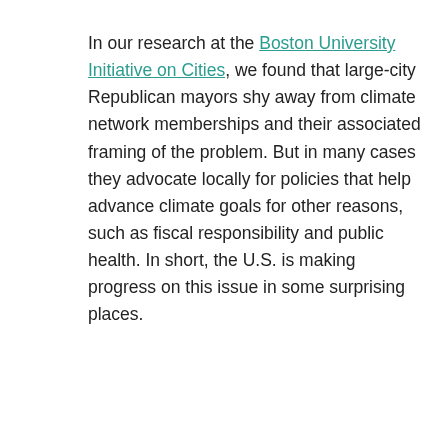In our research at the Boston University Initiative on Cities, we found that large-city Republican mayors shy away from climate network memberships and their associated framing of the problem. But in many cases they advocate locally for policies that help advance climate goals for other reasons, such as fiscal responsibility and public health. In short, the U.S. is making progress on this issue in some surprising places.